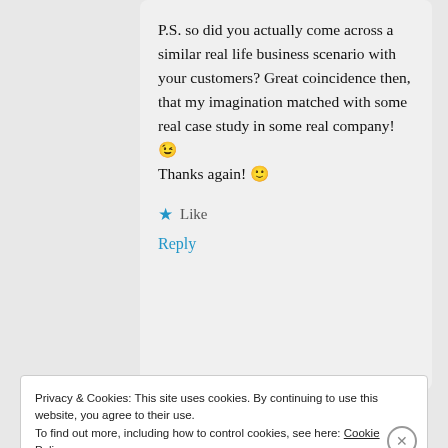P.S. so did you actually come across a similar real life business scenario with your customers? Great coincidence then, that my imagination matched with some real case study in some real company! 😉
Thanks again! 🙂
★ Like
Reply
Privacy & Cookies: This site uses cookies. By continuing to use this website, you agree to their use.
To find out more, including how to control cookies, see here: Cookie Policy
Close and accept